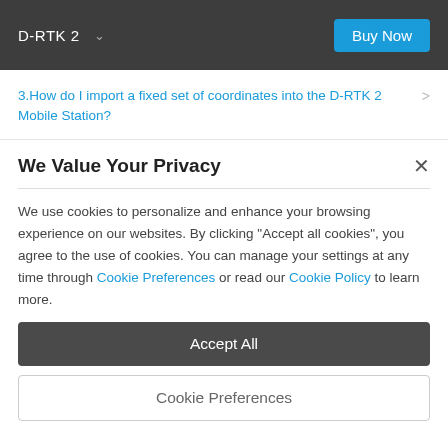D-RTK 2   Buy Now
3.How do I import a fixed set of coordinates into the D-RTK 2 Mobile Station?
We Value Your Privacy
We use cookies to personalize and enhance your browsing experience on our websites. By clicking "Accept all cookies", you agree to the use of cookies. You can manage your settings at any time through Cookie Preferences or read our Cookie Policy to learn more.
Accept All
Cookie Preferences